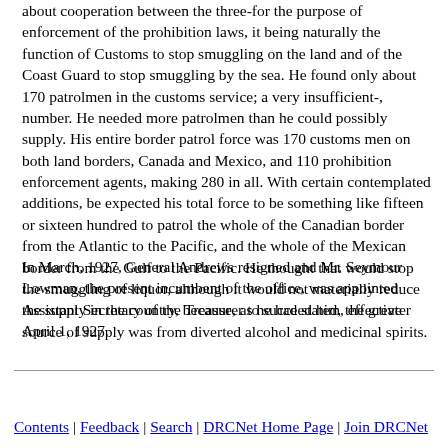about cooperation between the three-for the purpose of enforcement of the prohibition laws, it being naturally the function of Customs to stop smuggling on the land and of the Coast Guard to stop smuggling by the sea. He found only about 170 patrolmen in the customs service; a very insufficient-number. He needed more patrolmen than he could possibly supply. His entire border patrol force was 170 customs men on both land borders, Canada and Mexico, and 110 prohibition enforcement agents, making 280 in all. With certain contemplated additions, be expected his total force to be something like fifteen or sixteen hundred to patrol the whole of the Canadian border from the Atlantic to the Pacific, and the whole of the Mexican border from the Gulf to the Pacific. He thought that would stop the smuggling of liquor, although it would not materially reduce the supply in the country, because, as he had stated, the greater source of supply was from diverted alcohol and medicinal spirits.
In March, 1927, General Andrews resigned and Mr. Seymour Lowman, the present incumbent of the office, was appointed Assistant Secretary of the Treasurer to succeed him, effective April 1, 1927.
Contents | Feedback | Search | DRCNet Home Page | Join DRCNet